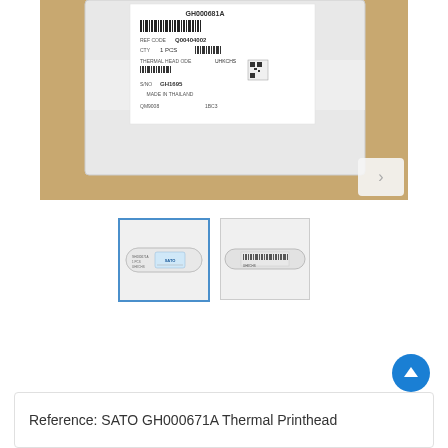[Figure (photo): Main product photo showing a white plastic sealed package/bag with a printed label. The label shows text including GH000681A, barcode, REF CODE Q00404002, QTY 1 PCS, barcode, THERMAL HEAD ODE, UHKCHS, barcodes, S/N GH1695, MADE IN THAILAND, QM9008, 1BC3. Package is placed on a brown cardboard surface. A small thumbnail navigation arrow icon is visible in the bottom right corner of the image.]
[Figure (photo): Thumbnail 1 (selected, blue border): Close-up of a white cylindrical thermal printhead component with a blue SATO label showing text details.]
[Figure (photo): Thumbnail 2: Close-up photo of a white cylindrical thermal printhead component showing label with text details, side view.]
Reference: SATO GH000671A Thermal Printhead